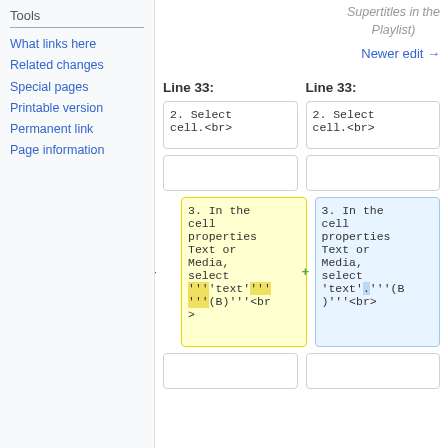Tools
What links here
Related changes
Special pages
Printable version
Permanent link
Page information
Supertitles in the Playlist)
Newer edit →
Line 33:
Line 33:
| 2. Select cell.<br> | 2. Select cell.<br> |
|  |  |
| 3. In the cell properties Text or Media, select '''text'''(B)'''<br> | 3. In the cell properties Text or Media, select 'text'.'''(B)'''<br> |